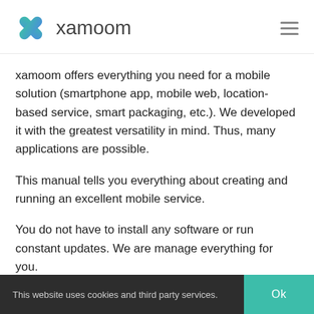[Figure (logo): xamoom logo: teal/blue X shape icon followed by the word 'xamoom' in gray sans-serif, with a hamburger menu icon on the right]
xamoom offers everything you need for a mobile solution (smartphone app, mobile web, location-based service, smart packaging, etc.). We developed it with the greatest versatility in mind. Thus, many applications are possible.
This manual tells you everything about creating and running an excellent mobile service.
You do not have to install any software or run constant updates. We are manage everything for you.
This website uses cookies and third party services.  Ok